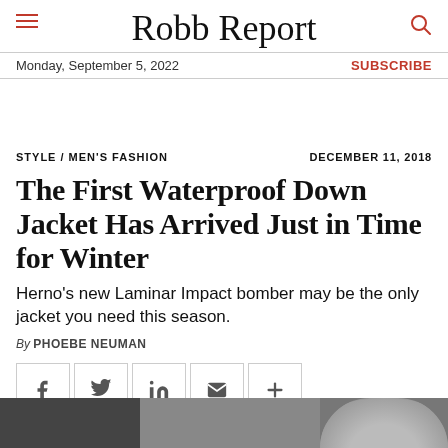Robb Report
Monday, September 5, 2022
SUBSCRIBE
STYLE / MEN'S FASHION    DECEMBER 11, 2018
The First Waterproof Down Jacket Has Arrived Just in Time for Winter
Herno's new Laminar Impact bomber may be the only jacket you need this season.
By PHOEBE NEUMAN
[Figure (other): Social share buttons: Facebook, Twitter, LinkedIn, Email, More]